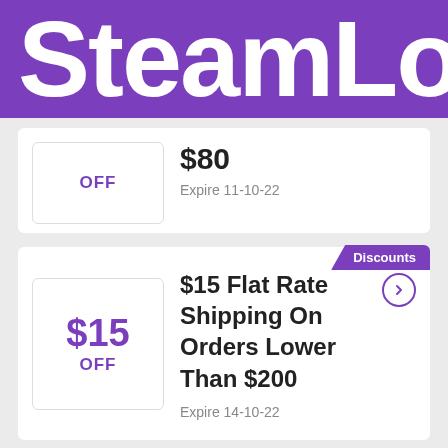SteamLo
$80
Expire 11-10-22
OFF
Discounts
$15 Flat Rate Shipping On Orders Lower Than $200
Expire 14-10-22
$15 OFF
Discounts
Proper Cloth Gift Card Amount
Sale...